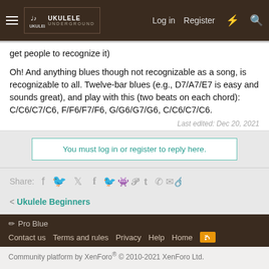UKULELE UNDERGROUND — Log in  Register
get people to recognize it)
Oh! And anything blues though not recognizable as a song, is recognizable to all. Twelve-bar blues (e.g., D7/A7/E7 is easy and sounds great), and play with this (two beats on each chord): C/C6/C7/C6, F/F6/F7/F6, G/G6/G7/G6, C/C6/C7/C6.
Last edited: Dec 20, 2021
You must log in or register to reply here.
Share:
< Ukulele Beginners
✏ Pro Blue
Contact us   Terms and rules   Privacy   Help   Home   [RSS]
Community platform by XenForo® © 2010-2021 XenForo Ltd.